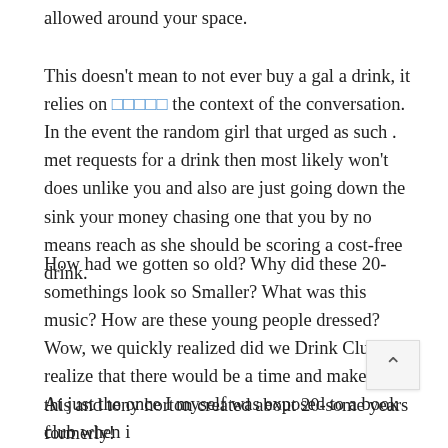allowed around your space.
This doesn't mean to not ever buy a gal a drink, it relies on [link] the context of the conversation. In the event the random girl that urged as such . met requests for a drink then most likely won't does unlike you and also are just going down the sink your money chasing one that you by no means reach as she should be scoring a cost-free drink.
How had we gotten so old? Why did these 20-somethings look so Smaller? What was this music? How are these young people dressed? Wow, we quickly realized did we Drink Club realize that there would be a time and make for this and tony horton created about 20-some years formerly!
At just the once I myself was exposed to a book club when i